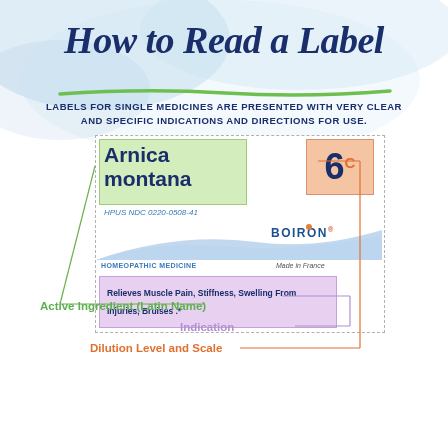How to Read a Label
LABELS FOR SINGLE MEDICINES ARE PRESENTED WITH VERY CLEAR AND SPECIFIC INDICATIONS AND DIRECTIONS FOR USE.
[Figure (infographic): Annotated homeopathic medicine label for Arnica montana 6C by Boiron, showing Active Ingredient (Latin Name), Dilution Level and Scale, and Indication callouts with colored annotation lines.]